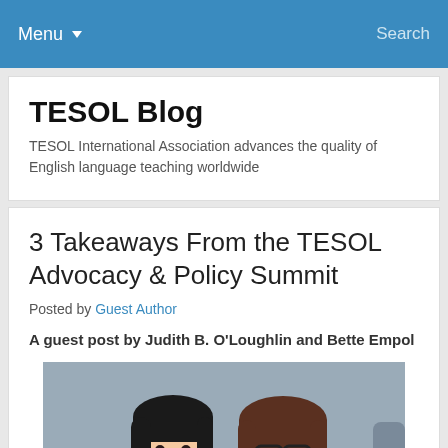Menu ▼   Search
TESOL Blog
TESOL International Association advances the quality of English language teaching worldwide
3 Takeaways From the TESOL Advocacy & Policy Summit
Posted by Guest Author
A guest post by Judith B. O'Loughlin and Bette Empol
[Figure (photo): Two women smiling for a selfie photo, one with dark bangs and one with short brown hair and glasses]